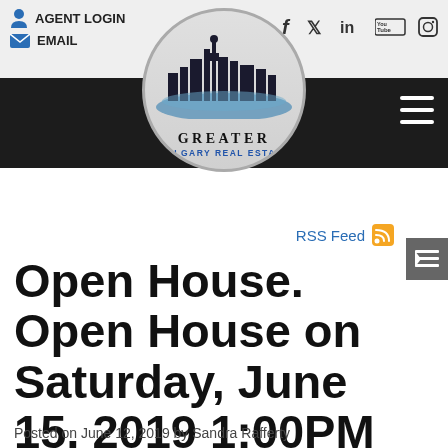AGENT LOGIN  EMAIL
[Figure (logo): Greater Calgary Real Estate circular logo with city skyline silhouette]
RSS Feed
Open House. Open House on Saturday, June 15, 2019 1:00PM – 3:00PM
Posted on June 12, 2019 by Sandra Rafferty